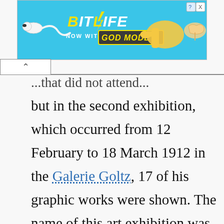[Figure (screenshot): BitLife mobile game advertisement banner. Light blue background with 'BitLife NOW WITH GOD MODE' text, cartoon hand and sperm character graphics, and a close button (X) in the top right corner.]
but in the second exhibition, which occurred from 12 February to 18 March 1912 in the Galerie Goltz, 17 of his graphic works were shown. The name of this art exhibition was Schwarz-Weiß, as it only regarded graphic painting.[26] Initially planned to be released in 1911, the release date of the Der Blau Reiter almanac by Kandinsky and Marc was delayed in May 1912, including the reproduced ink